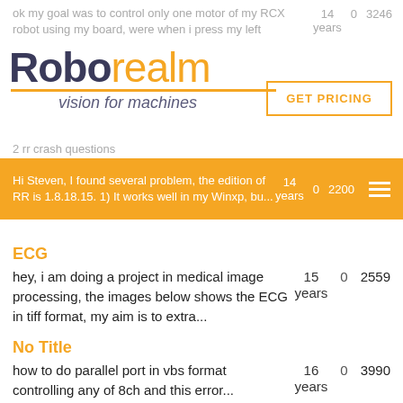ok my goal was to control only one motor of my RCX robot using my board, were when i press my left
[Figure (logo): RoboRealm logo - bold dark text 'Robo' with orange 'realm', orange underline, italic tagline 'vision for machines']
[Figure (other): GET PRICING button with orange border]
2 rr crash questions
Hi Steven, I found several problem, the edition of RR is 1.8.18.15. 1) It works well in my Winxp, bu...
ECG
hey, i am doing a project in medical image processing, the images below shows the ECG in tiff format, my aim is to extra...
No Title
how to do parallel port in vbs format controlling any of 8ch and this error...
No Title
I have this robo file to identify the laser